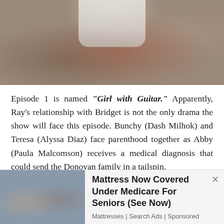[Figure (photo): Blurred close-up photo showing what appears to be hands or objects on a surface, with a white shirt visible at top center and blurred background elements.]
Episode 1 is named "Girl with Guitar." Apparently, Ray's relationship with Bridget is not the only drama the show will face this episode. Bunchy (Dash Milhok) and Teresa (Alyssa Diaz) face parenthood together as Abby (Paula Malcomson) receives a medical diagnosis that could send the Donovan family in a tailspin.
Meanwhile, Mickey Donovan (Jon Voight) is hiding out in Nevada still, as Muncie (Michael Hyatt) is hot on his trail. He
[Figure (photo): Advertisement photo showing two people sitting on a bed in a bedroom setting.]
Mattress Now Covered Under Medicare For Seniors (See Now)
Mattresses | Search Ads | Sponsored